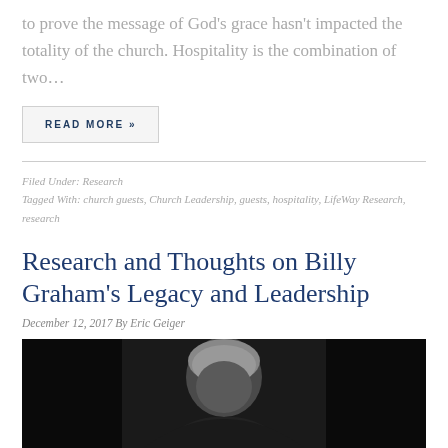to prove the message of God's grace hasn't impacted the totality of the church. Hospitality is the combination of two…
READ MORE »
Filed Under: Research
Tagged With: church guests, Church Leadership, guests, hospitality, LifeWay Research, research
Research and Thoughts on Billy Graham's Legacy and Leadership
December 12, 2017 By Eric Geiger
[Figure (photo): Black and white photograph of an elderly man (Billy Graham) with white hair, dark background]